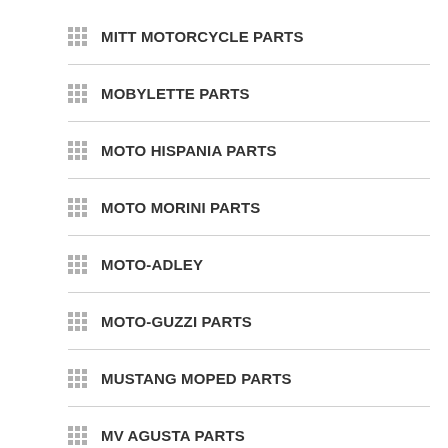MITT MOTORCYCLE PARTS
MOBYLETTE PARTS
MOTO HISPANIA PARTS
MOTO MORINI PARTS
MOTO-ADLEY
MOTO-GUZZI PARTS
MUSTANG MOPED PARTS
MV AGUSTA PARTS
MZ PARTS
NORTON PARTS
NVT MOPED PARTS
PEUGEOT PARTS